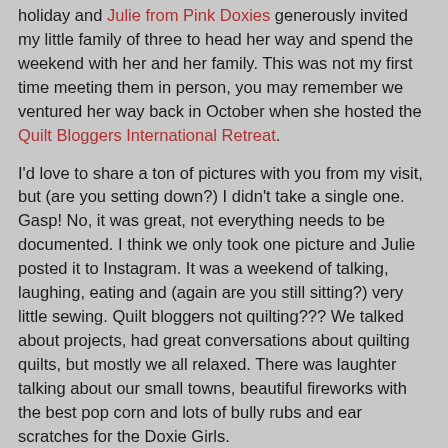holiday and Julie from Pink Doxies generously invited my little family of three to head her way and spend the weekend with her and her family.  This was not my first time meeting them in person, you may remember we ventured her way back in October when she hosted the Quilt Bloggers International Retreat.
I'd love to share a ton of pictures with you from my visit, but (are you setting down?) I didn't take a single one.  Gasp!  No, it was great, not everything needs to be documented.  I think we only took one picture and Julie posted it to Instagram.  It was a weekend of talking, laughing, eating and (again are you still sitting?) very little sewing. Quilt bloggers not quilting???  We talked about projects, had great conversations about quilting quilts, but mostly we all relaxed.   There was laughter talking about our small towns, beautiful fireworks with the best pop corn and lots of bully rubs and ear scratches for the Doxie Girls.
We cannot thank Julie and her family enough, for allowing us into their lives and spending time with us.  I return from my visit with my batteries recharged and ready to be